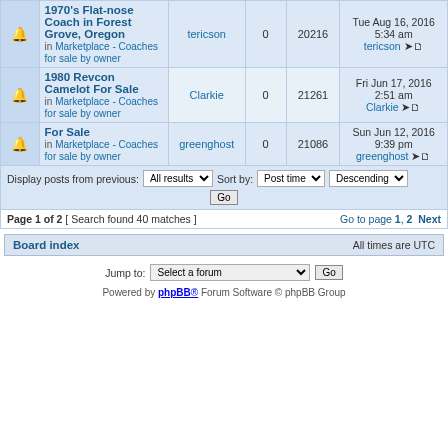|  | Topic | Author | Replies | Views | Last post |
| --- | --- | --- | --- | --- | --- |
| [bell] | 1970's Flat-nose Coach in Forest Grove, Oregon
in Marketplace - Coaches for sale by owner | tericson | 0 | 20216 | Tue Aug 16, 2016 5:34 am tericson |
| [bell] | 1980 Revcon Camelot For Sale
in Marketplace - Coaches for sale by owner | Clarkie | 0 | 21261 | Fri Jun 17, 2016 2:51 am Clarkie |
| [bell] | For Sale
in Marketplace - Coaches for sale by owner | greenghost | 0 | 21086 | Sun Jun 12, 2016 9:39 pm greenghost |
Display posts from previous: All results  Sort by: Post time  Descending
Page 1 of 2 [ Search found 40 matches ]   Go to page 1, 2  Next
Board index   All times are UTC
Jump to: Select a forum  Go
Powered by phpBB® Forum Software © phpBB Group